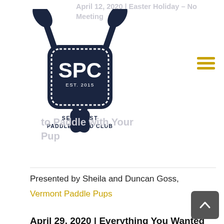[Figure (logo): Seacoast Paddleboard Club logo: crossed paddles behind a dark navy badge shape with 'SPC EST. 2015' and 'SEACOAST PADDLEBOARD CLUB' text]
April 12, 2020 | Easter Holiday – No Meeting
How to Paddle with Your Pup
Presented by Sheila and Duncan Goss,
Vermont Paddle Pups
April 29, 2020 | Everything You Wanted to Know about Earning Your ACA Paddleboard Certification
Presented by Matt Palmariello, Maine Paddling